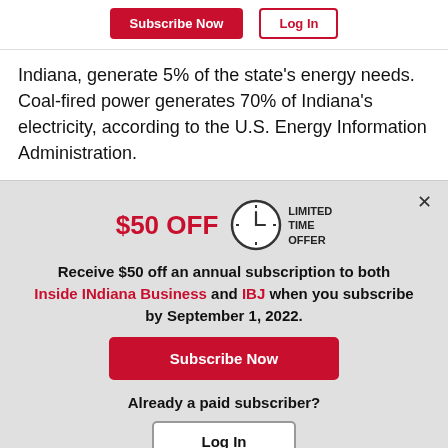Subscribe Now | Log In
Indiana, generate 5% of the state's energy needs. Coal-fired power generates 70% of Indiana's electricity, according to the U.S. Energy Information Administration.
[Figure (infographic): Promotional subscription modal with clock icon, $50 OFF limited time offer, Subscribe Now button, and Log In button]
$50 OFF LIMITED TIME OFFER
Receive $50 off an annual subscription to both Inside INdiana Business and IBJ when you subscribe by September 1, 2022.
Subscribe Now
Already a paid subscriber?
Log In